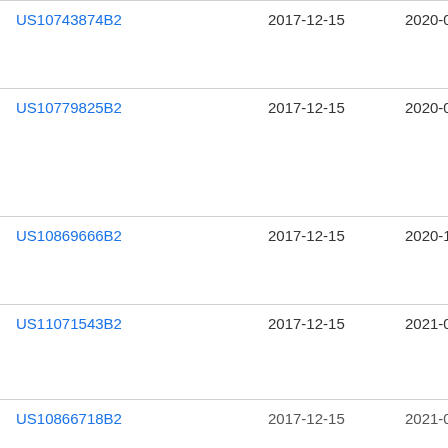| Patent Number | Filed | Published | Assignee |
| --- | --- | --- | --- |
| US10743874B2 | 2017-12-15 | 2020-08-18 | Eth… |
| US10779825B2 | 2017-12-15 | 2020-09-22 | Eth… |
| US10869666B2 | 2017-12-15 | 2020-12-22 | Eth… |
| US11071543B2 | 2017-12-15 | 2021-07-27 | Cila… Inte… |
| US10866718B2 | 2017-12-15 | 2021-01-26 | Eth… |